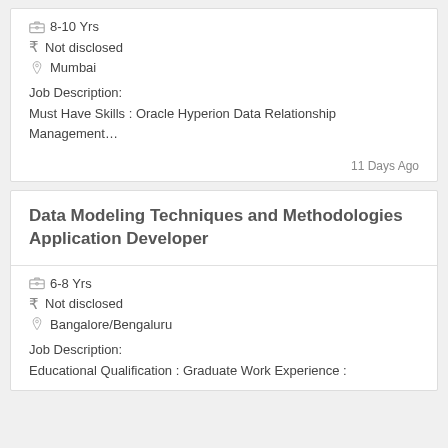8-10 Yrs
Not disclosed
Mumbai
Job Description:
Must Have Skills : Oracle Hyperion Data Relationship Management…
11 Days Ago
Data Modeling Techniques and Methodologies Application Developer
6-8 Yrs
Not disclosed
Bangalore/Bengaluru
Job Description:
Educational Qualification : Graduate Work Experience :